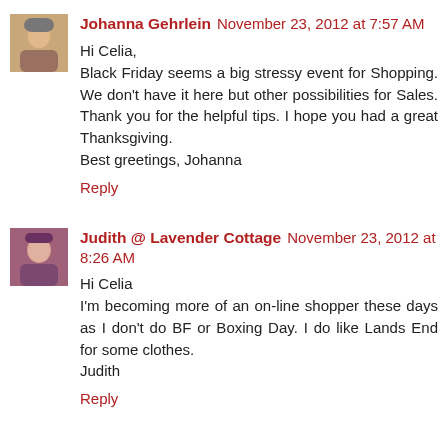[Figure (photo): Avatar photo of Johanna Gehrlein - elderly woman]
Johanna Gehrlein November 23, 2012 at 7:57 AM
Hi Celia,
Black Friday seems a big stressy event for Shopping. We don't have it here but other possibilities for Sales. Thank you for the helpful tips. I hope you had a great Thanksgiving.
Best greetings, Johanna
Reply
[Figure (photo): Avatar photo of Judith @ Lavender Cottage - woman with short hair]
Judith @ Lavender Cottage November 23, 2012 at 8:26 AM
Hi Celia
I'm becoming more of an on-line shopper these days as I don't do BF or Boxing Day. I do like Lands End for some clothes.
Judith
Reply